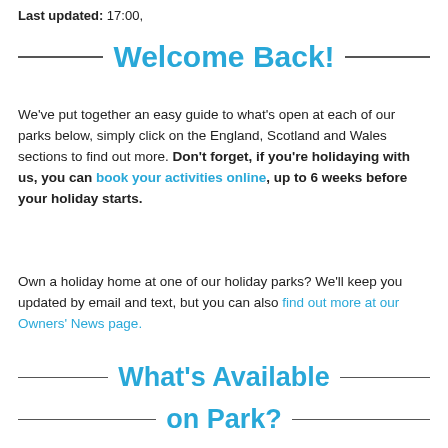Last updated: 17:00,
Welcome Back!
We've put together an easy guide to what's open at each of our parks below, simply click on the England, Scotland and Wales sections to find out more. Don't forget, if you're holidaying with us, you can book your activities online, up to 6 weeks before your holiday starts.
Own a holiday home at one of our holiday parks? We'll keep you updated by email and text, but you can also find out more at our Owners' News page.
What's Available on Park?